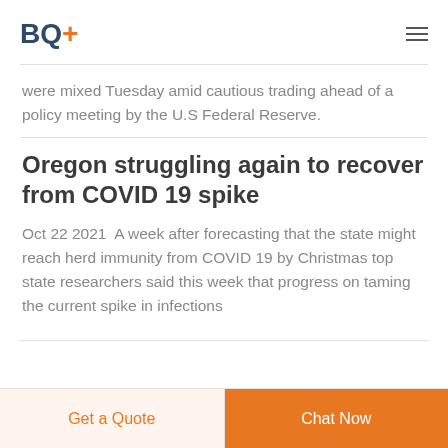BQ+
were mixed Tuesday amid cautious trading ahead of a policy meeting by the U.S Federal Reserve.
Oregon struggling again to recover from COVID 19 spike
Oct 22 2021  A week after forecasting that the state might reach herd immunity from COVID 19 by Christmas top state researchers said this week that progress on taming the current spike in infections
Get a Quote  Chat Now